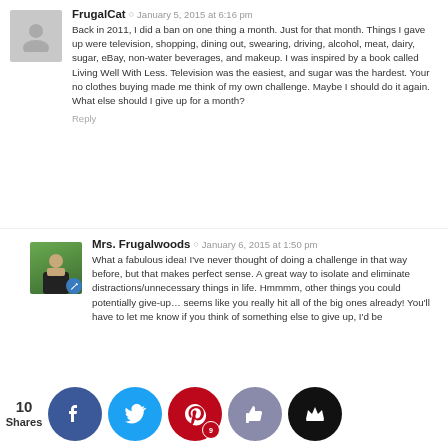FrugalCat  ·  January 5, 2015 at 6:16 pm
Back in 2011, I did a ban on one thing a month. Just for that month. Things I gave up were television, shopping, dining out, swearing, driving, alcohol, meat, dairy, sugar, eBay, non-water beverages, and makeup. I was inspired by a book called Living Well With Less. Television was the easiest, and sugar was the hardest. Your no clothes buying made me think of my own challenge. Maybe I should do it again. What else should I give up for a month?
Reply
Mrs. Frugalwoods  ·  January 6, 2015 at 1:50 pm
What a fabulous idea! I've never thought of doing a challenge in that way before, but that makes perfect sense. A great way to isolate and eliminate distractions/unnecessary things in life. Hmmmm, other things you could potentially give-up… seems like you really hit all of the big ones already! You'll have to let me know if you think of something else to give up, I'd be
ed to    at you   p with   for re
commenting
10 Shares